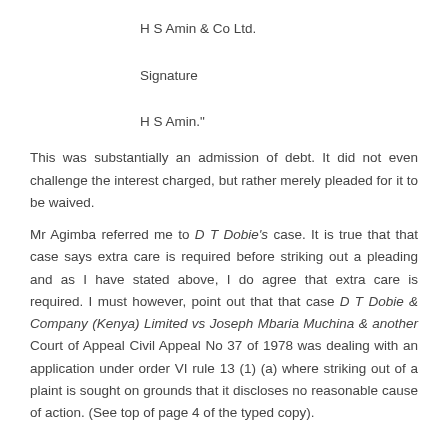H S Amin & Co Ltd.
Signature
H S Amin."
This was substantially an admission of debt. It did not even challenge the interest charged, but rather merely pleaded for it to be waived.
Mr Agimba referred me to D T Dobie's case. It is true that that case says extra care is required before striking out a pleading and as I have stated above, I do agree that extra care is required. I must however, point out that that case D T Dobie & Company (Kenya) Limited vs Joseph Mbaria Muchina & another Court of Appeal Civil Appeal No 37 of 1978 was dealing with an application under order VI rule 13 (1) (a) where striking out of a plaint is sought on grounds that it discloses no reasonable cause of action. (See top of page 4 of the typed copy).